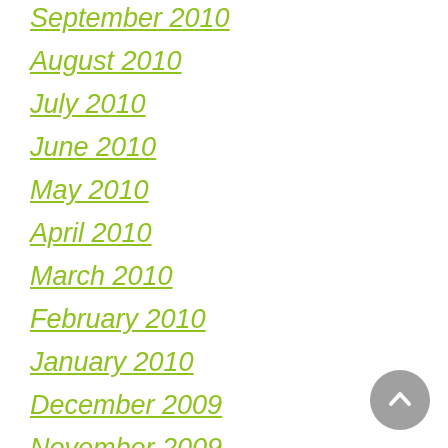September 2010
August 2010
July 2010
June 2010
May 2010
April 2010
March 2010
February 2010
January 2010
December 2009
November 2009
October 2009
September 2009